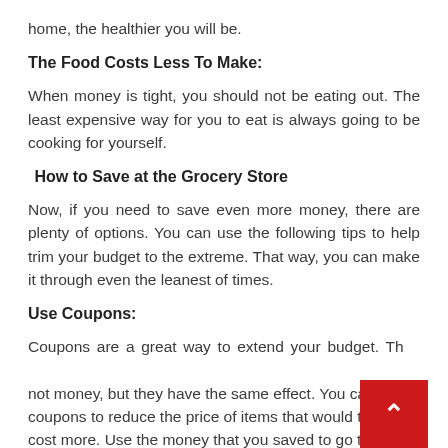home, the healthier you will be.
The Food Costs Less To Make:
When money is tight, you should not be eating out. The least expensive way for you to eat is always going to be cooking for yourself.
How to Save at the Grocery Store
Now, if you need to save even more money, there are plenty of options. You can use the following tips to help trim your budget to the extreme. That way, you can make it through even the leanest of times.
Use Coupons:
Coupons are a great way to extend your budget. Th... not money, but they have the same effect. You can use coupons to reduce the price of items that would typically cost more. Use the money that you saved to go towards